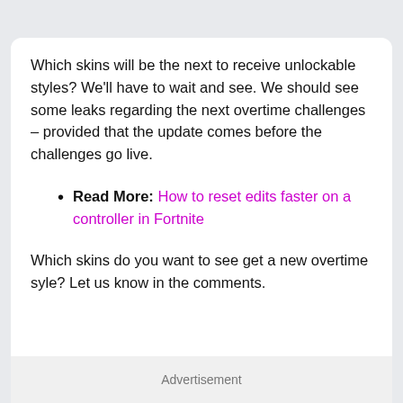Which skins will be the next to receive unlockable styles? We'll have to wait and see. We should see some leaks regarding the next overtime challenges – provided that the update comes before the challenges go live.
Read More: How to reset edits faster on a controller in Fortnite
Which skins do you want to see get a new overtime syle? Let us know in the comments.
Advertisement